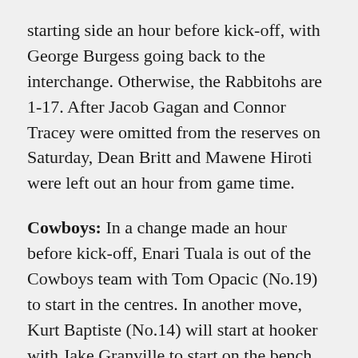starting side an hour before kick-off, with George Burgess going back to the interchange. Otherwise, the Rabbitohs are 1-17. After Jacob Gagan and Connor Tracey were omitted from the reserves on Saturday, Dean Britt and Mawene Hiroti were left out an hour from game time.
Cowboys: In a change made an hour before kick-off, Enari Tuala is out of the Cowboys team with Tom Opacic (No.19) to start in the centres. In another move, Kurt Baptiste (No.14) will start at hooker with Jake Granville to start on the bench. Tuala and Shane Wright were the two